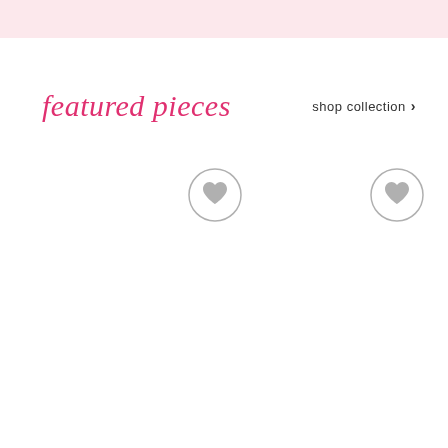featured pieces
shop collection >
[Figure (illustration): Circular heart/wishlist button icon (grey outlined circle with grey heart inside), left position]
[Figure (illustration): Circular heart/wishlist button icon (grey outlined circle with grey heart inside), right position]